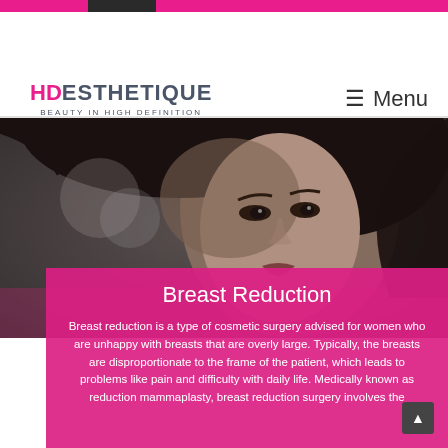HD Esthetique — Beauty in High Definition | Menu
[Figure (photo): Close-up portrait of a dark-haired woman looking to the side, in grayscale/muted tones, serving as hero background image for a cosmetic surgery website]
Breast Reduction
Breast reduction is a type of cosmetic surgery advised for women who are unhappy with breasts that are overly large. Typically, the breasts are disproportionate to the frame of the patient, which leads to problems like pain and difficulty with daily life. Medically known as reduction mammaplasty, breast reduction surgery involves the